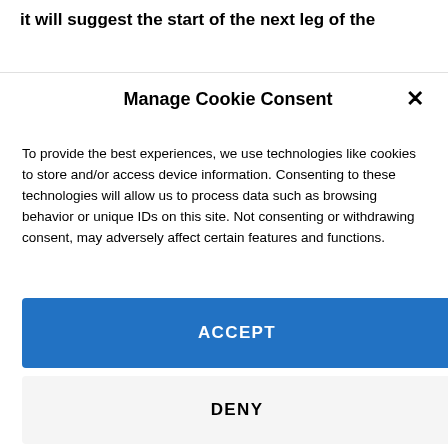it will suggest the start of the next leg of the
Manage Cookie Consent
To provide the best experiences, we use technologies like cookies to store and/or access device information. Consenting to these technologies will allow us to process data such as browsing behavior or unique IDs on this site. Not consenting or withdrawing consent, may adversely affect certain features and functions.
ACCEPT
DENY
VIEW PREFERENCES